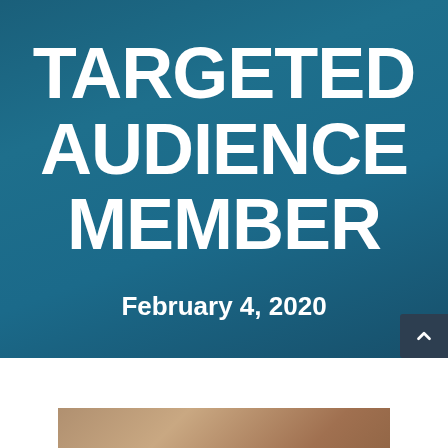TARGETED AUDIENCE MEMBER
February 4, 2020
[Figure (photo): Partial photo of a person visible at the bottom of the page]